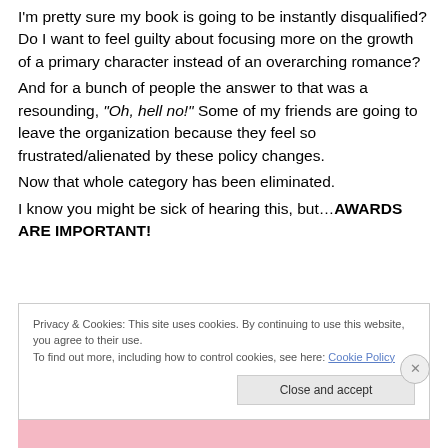I'm pretty sure my book is going to be instantly disqualified? Do I want to feel guilty about focusing more on the growth of a primary character instead of an overarching romance?
And for a bunch of people the answer to that was a resounding, "Oh, hell no!" Some of my friends are going to leave the organization because they feel so frustrated/alienated by these policy changes.
Now that whole category has been eliminated.
I know you might be sick of hearing this, but…AWARDS ARE IMPORTANT!
Privacy & Cookies: This site uses cookies. By continuing to use this website, you agree to their use.
To find out more, including how to control cookies, see here: Cookie Policy